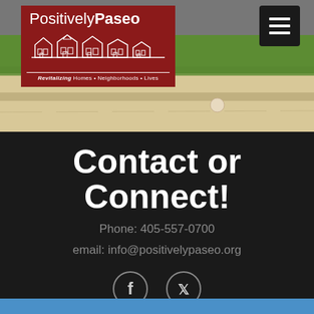[Figure (logo): Positively Paseo logo on dark red background with white house silhouettes and tagline 'Revitalizing Homes • Neighborhoods • Lives']
[Figure (photo): Close-up photo of a concrete sidewalk/curb with green grass border]
Contact or Connect!
Phone: 405-557-0700
email: info@positivelypaseo.org
[Figure (illustration): Facebook and Twitter social media icon circles]